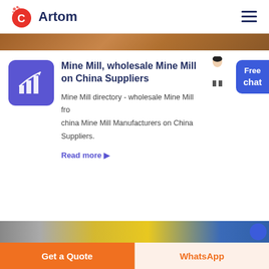Artom
[Figure (screenshot): Partial product image strip at top, brownish tones]
Mine Mill, wholesale Mine Mill on China Suppliers
Mine Mill directory - wholesale Mine Mill from china Mine Mill Manufacturers on China Suppliers.
Read more ▶
[Figure (screenshot): Partial product image strip at bottom, showing yellow industrial equipment and blue button]
Get a Quote
WhatsApp